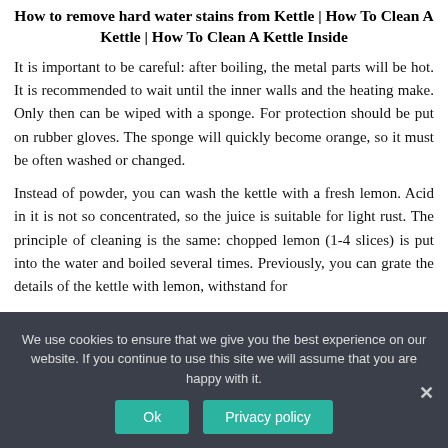How to remove hard water stains from Kettle | How To Clean A Kettle | How To Clean A Kettle Inside
It is important to be careful: after boiling, the metal parts will be hot. It is recommended to wait until the inner walls and the heating make. Only then can be wiped with a sponge. For protection should be put on rubber gloves. The sponge will quickly become orange, so it must be often washed or changed.
Instead of powder, you can wash the kettle with a fresh lemon. Acid in it is not so concentrated, so the juice is suitable for light rust. The principle of cleaning is the same: chopped lemon (1-4 slices) is put into the water and boiled several times. Previously, you can grate the details of the kettle with lemon, withstand for
We use cookies to ensure that we give you the best experience on our website. If you continue to use this site we will assume that you are happy with it.